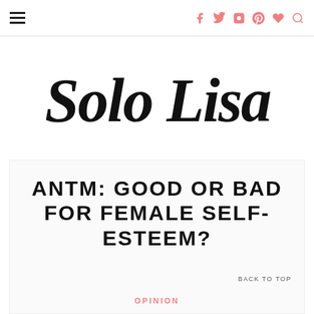Solo Lisa — navigation with social icons (Facebook, Twitter, Instagram, Pinterest, Heart, Search)
Solo Lisa
ANTM: GOOD OR BAD FOR FEMALE SELF-ESTEEM?
BACK TO TOP
OPINION